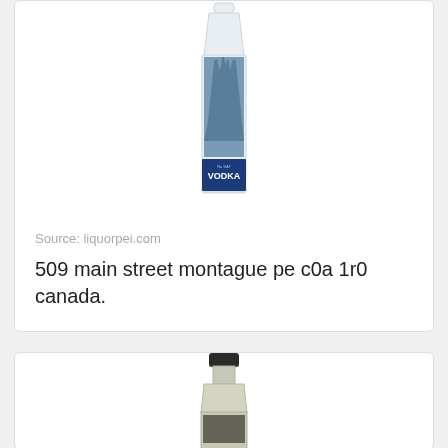[Figure (photo): Amsterdam Vodka bottle with blue label and city skyline design]
Source: liquorpei.com
509 main street montague pe c0a 1r0 canada.
[Figure (photo): A wine or spirits bottle with dark cap, partially visible at bottom of page]